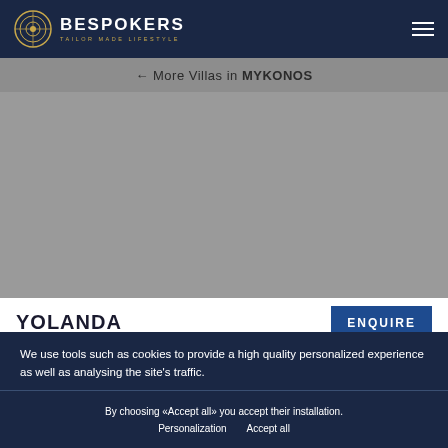BESPOKERS TAILOR MADE LIFESTYLE
← More Villas in MYKONOS
[Figure (photo): Gray placeholder image area for villa photo]
YOLANDA
ENQUIRE
We use tools such as cookies to provide a high quality personalized experience as well as analysing the site's traffic.
By choosing «Accept all» you accept their installation.
Personalization    Accept all